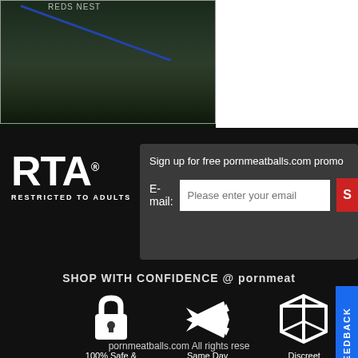[Figure (photo): Dark image with foliage/grass background, partially cropped at top]
[Figure (logo): RTA - Restricted to Adults logo in white on black background]
Sign up for free pornmeatballs.com promo
E-mail: Please enter your email
SHOP WITH CONFIDENCE @ pornmeat
[Figure (illustration): Lock icon - 100% Safe & Secure]
[Figure (illustration): Airplane icon - Same Day Shipping]
[Figure (illustration): Box/package icon - Discreet Packaging]
100% Safe & Secure
Same Day Shipping
Discreet Packaging
pornmeatballs.com All rights rese